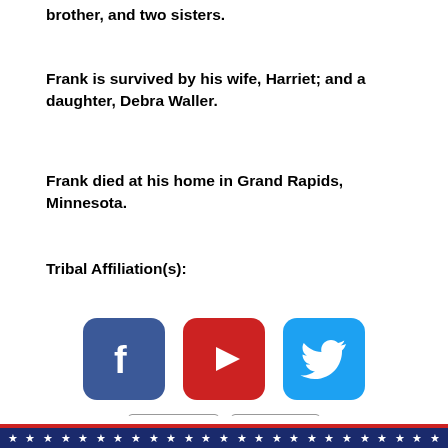brother, and two sisters.
Frank is survived by his wife, Harriet; and a daughter, Debra Waller.
Frank died at his home in Grand Rapids, Minnesota.
Tribal Affiliation(s):
[Figure (logo): Social media icons: Facebook (blue rounded square with white F), YouTube (red rounded rectangle with white play button), Twitter (light blue rounded square with white bird)]
Privacy Policy   Cookie Policy
Red stripe and row of white stars on navy blue background